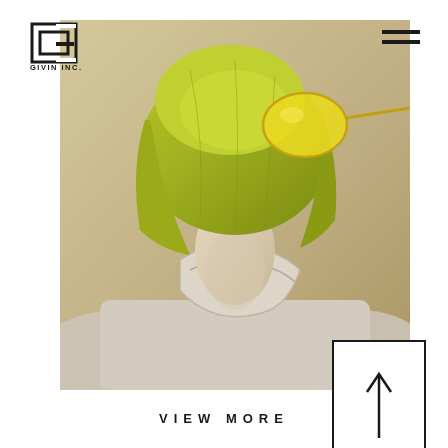[Figure (logo): GIVIN INC. brand logo — square G letterform with inner rectangle cutout, text 'GIVIN INC.' below]
[Figure (photo): Fashion photo of a person seen from behind with yellow-tinted aviator sunglasses and olive/blonde bob haircut, wearing a beige/off-white high-collar bomber jacket, sandy outdoor background]
TRENDS
VIEW MORE